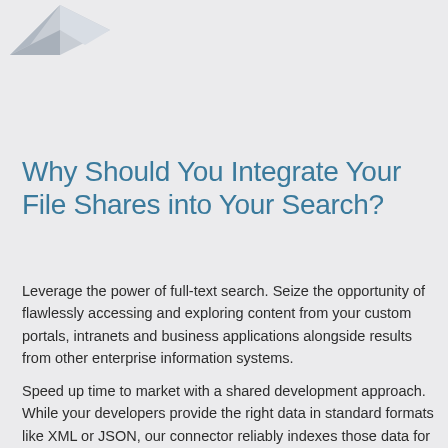[Figure (illustration): Partial view of a 3D grey/silver geometric shape or logo illustration at top left]
Why Should You Integrate Your File Shares into Your Search?
Leverage the power of full-text search. Seize the opportunity of flawlessly accessing and exploring content from your custom portals, intranets and business applications alongside results from other enterprise information systems.
Speed up time to market with a shared development approach. While your developers provide the right data in standard formats like XML or JSON, our connector reliably indexes those data for